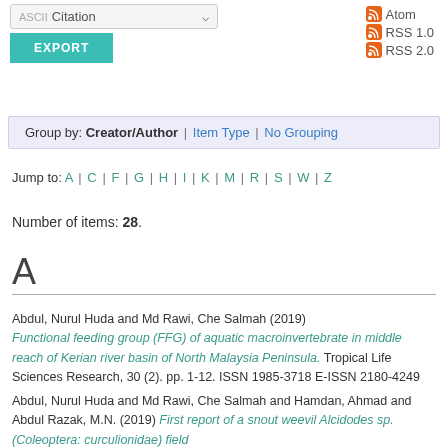[Figure (screenshot): Export dropdown showing 'ASCII Citation' with a teal EXPORT button]
[Figure (other): RSS feed links: Atom, RSS 1.0, RSS 2.0 with orange RSS icons]
Group by: Creator/Author | Item Type | No Grouping
Jump to: A | C | F | G | H | I | K | M | R | S | W | Z
Number of items: 28.
A
Abdul, Nurul Huda and Md Rawi, Che Salmah (2019) Functional feeding group (FFG) of aquatic macroinvertebrate in middle reach of Kerian river basin of North Malaysia Peninsula. Tropical Life Sciences Research, 30 (2). pp. 1-12. ISSN 1985-3718 E-ISSN 2180-4249
Abdul, Nurul Huda and Md Rawi, Che Salmah and Hamdan, Ahmad and Abdul Razak, M.N. (2019) First report of a snout weevil Alcidodes sp. (Coleoptera: curculionidae) field